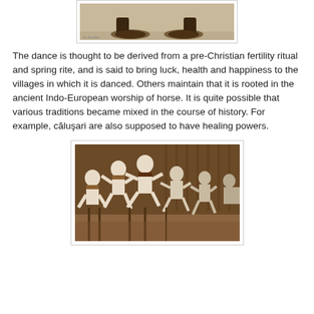[Figure (photo): Partial view of feet/shoes from a dance performance, black and white/sepia photograph, cropped at top]
The dance is thought to be derived from a pre-Christian fertility ritual and spring rite, and is said to bring luck, health and happiness to the villages in which it is danced. Others maintain that it is rooted in the ancient Indo-European worship of horse. It is quite possible that various traditions became mixed in the course of history. For example, căluşari are also supposed to have healing powers.
[Figure (photo): Sepia-toned photograph of Romanian căluşari dancers in traditional white costumes performing on a stage, with several men mid-jump or in dynamic poses]